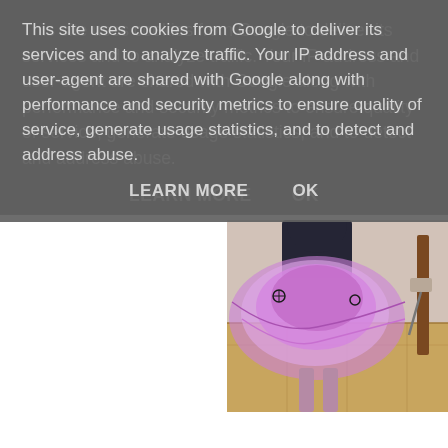This site uses cookies from Google to deliver its services and to analyze traffic. Your IP address and user-agent are shared with Google along with performance and security metrics to ensure quality of service, generate usage statistics, and to detect and address abuse.
LEARN MORE    OK
[Figure (photo): Partial photo of a person wearing a purple/pink tutu or layered skirt costume, standing indoors on a wooden floor with a chair visible]
2. If you could go back to your childhood and dress up as something what would it be?
A pumpkin. Definitely a pumpkin. Although some of those princess outfits are pretty cool too!
3. What was your favourite Halloween costume as an adult?
I don't have a picture of me in the white Marilyn Monroe dress I made of bin bags (which nearly went up in smoke in